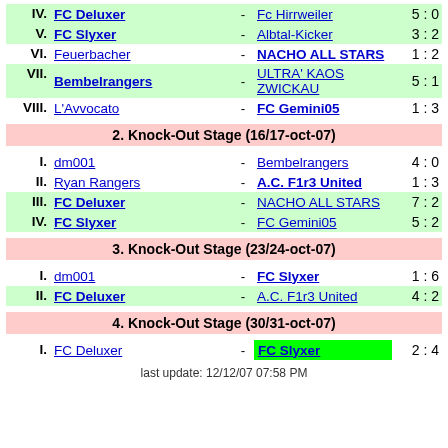| IV. | FC Deluxer | - | Fc Hirrweiler | 5 : 0 |
| V. | FC Slyxer | - | Albtal-Kicker | 3 : 2 |
| VI. | Feuerbacher | - | NACHO ALL STARS | 1 : 2 |
| VII. | Bembelrangers | - | ULTRA' KAOS ZWICKAU | 5 : 1 |
| VIII. | L'Avvocato | - | FC Gemini05 | 1 : 3 |
2. Knock-Out Stage (16/17-oct-07)
| I. | dm001 | - | Bembelrangers | 4 : 0 |
| II. | Ryan Rangers | - | A.C. F1r3 United | 1 : 3 |
| III. | FC Deluxer | - | NACHO ALL STARS | 7 : 2 |
| IV. | FC Slyxer | - | FC Gemini05 | 5 : 2 |
3. Knock-Out Stage (23/24-oct-07)
| I. | dm001 | - | FC Slyxer | 1 : 6 |
| II. | FC Deluxer | - | A.C. F1r3 United | 4 : 2 |
4. Knock-Out Stage (30/31-oct-07)
| I. | FC Deluxer | - | FC Slyxer | 2 : 4 |
last update: 12/12/07 07:58 PM